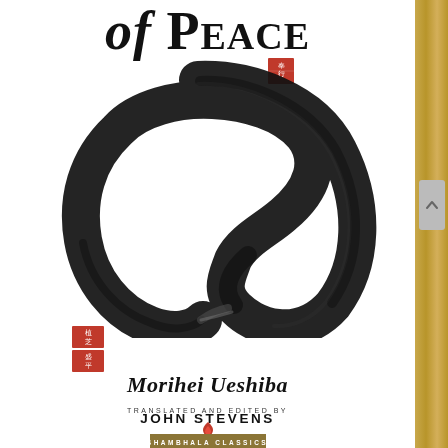of Peace
[Figure (illustration): Enso (Zen circle) brush painting in black ink, incomplete circle open at bottom right, with a small red Japanese seal stamp in upper right area and two red Japanese seal stamps on the lower left]
Morihei Ueshiba
Translated and Edited by John Stevens
Shambhala Classics